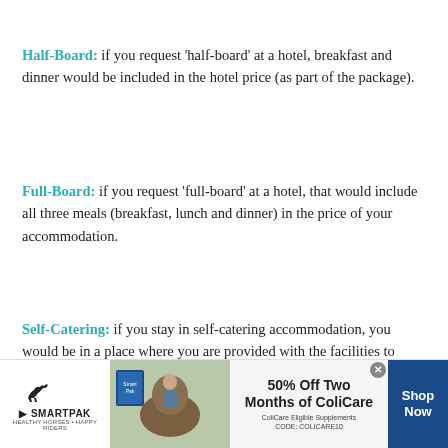Half-Board: if you request 'half-board' at a hotel, breakfast and dinner would be included in the hotel price (as part of the package).
Full-Board: if you request 'full-board' at a hotel, that would include all three meals (breakfast, lunch and dinner) in the price of your accommodation.
Self-Catering: if you stay in self-catering accommodation, you would be in a place where you are provided with the facilities to prepare and cook your own meals.
Accommodation: a room or building in which someone may
[Figure (infographic): SmartPak advertisement banner: 50% Off Two Months of ColiCare. ColiCare Eligible Supplements. CODE: COLICARE10. Shop Now button. SmartPak logo with horse. Image of horse and rider.]